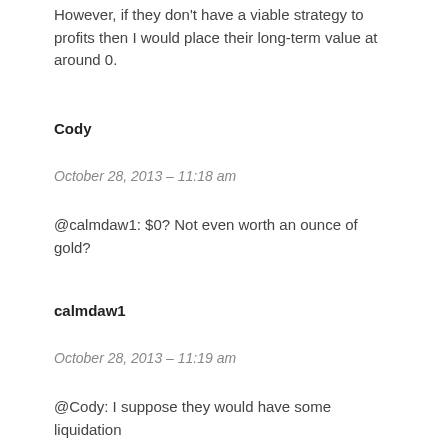However, if they don't have a viable strategy to profits then I would place their long-term value at around 0.
Cody
October 28, 2013 – 11:18 am
@calmdaw1: $0? Not even worth an ounce of gold?
calmdaw1
October 28, 2013 – 11:19 am
@Cody: I suppose they would have some liquidation